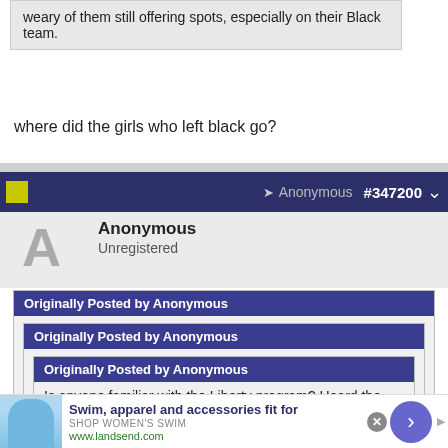weary of them still offering spots, especially on their Black team.
where did the girls who left black go?
Anonymous #347200
Anonymous
Unregistered
Originally Posted by Anonymous
Originally Posted by Anonymous
Originally Posted by Anonymous
Is anyone familiar with the Liberty program? Heard the 2026 Liberty Red team folded and
Swim, apparel and accessories fit for
SHOP WOMEN'S SWIM
www.landsend.com